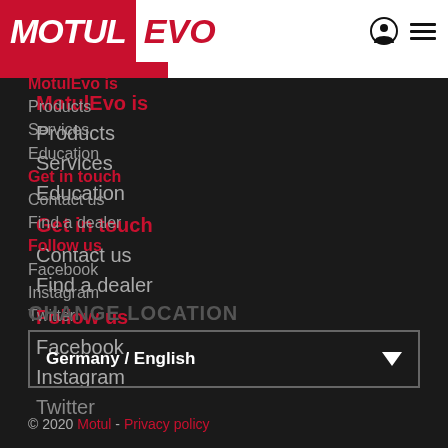MOTUL EVO
MotulEvo is
Products
Services
Education
Get in touch
Contact us
Find a dealer
Follow us
Facebook
Instagram
Twitter
CHANGE LOCATION
Germany / English
© 2020 Motul - Privacy policy